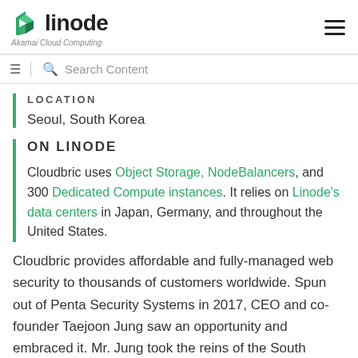[Figure (logo): Linode logo with green angular icon, text 'linode' in bold and subtitle 'Akamai Cloud Computing' in italic gray]
LOCATION
Seoul, South Korea
ON LINODE
Cloudbric uses Object Storage, NodeBalancers, and 300 Dedicated Compute instances. It relies on Linode's data centers in Japan, Germany, and throughout the United States.
Cloudbric provides affordable and fully-managed web security to thousands of customers worldwide. Spun out of Penta Security Systems in 2017, CEO and co-founder Taejoon Jung saw an opportunity and embraced it. Mr. Jung took the reins of the South